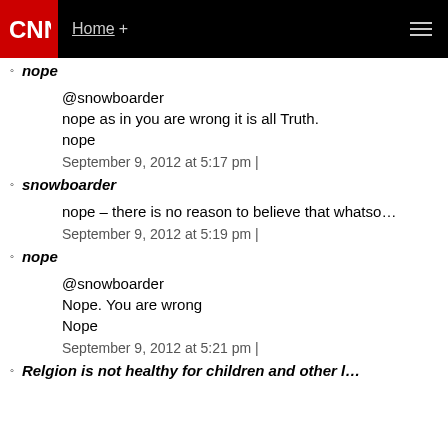[Figure (screenshot): CNN website header with logo, Home + navigation, and hamburger menu]
nope (author, bold italic, partially cropped at top)
@snowboarder
nope as in you are wrong it is all Truth.
nope
September 9, 2012 at 5:17 pm |
snowboarder
nope – there is no reason to believe that whatso…
September 9, 2012 at 5:19 pm |
nope
@snowboarder
Nope. You are wrong
Nope
September 9, 2012 at 5:21 pm |
Relgion is not healthy for children and other l…